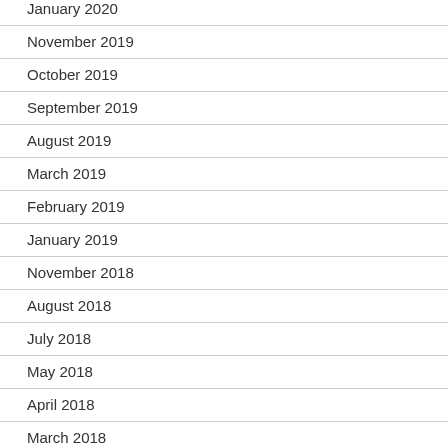January 2020
November 2019
October 2019
September 2019
August 2019
March 2019
February 2019
January 2019
November 2018
August 2018
July 2018
May 2018
April 2018
March 2018